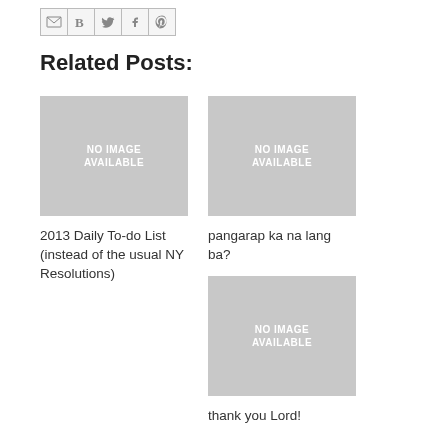[Figure (logo): Row of social sharing icon buttons: email (M), blogger (B), Twitter bird, Facebook f, Pinterest p]
Related Posts:
[Figure (photo): No image available placeholder - grey rectangle with white text]
[Figure (photo): No image available placeholder - grey rectangle with white text]
2013 Daily To-do List (instead of the usual NY Resolutions)
pangarap ka na lang ba?
[Figure (photo): No image available placeholder - grey rectangle with white text]
thank you Lord!